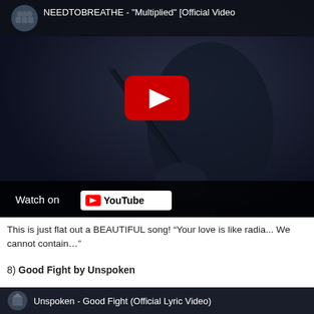[Figure (screenshot): YouTube embedded video player showing NEEDTOBREATHE - 'Multiplied' [Official Video] with a dark background image of a singer holding a microphone, red YouTube play button in center, 'Watch on YouTube' bar at bottom, and channel avatar in top left corner.]
This is just flat out a BEAUTIFUL song! “Your love is like radia... We cannot contain…”
8) Good Fight by Unspoken
[Figure (screenshot): YouTube embedded video thumbnail/title bar showing Unspoken - Good Fight (Official Lyric Video) with channel avatar on left and white title text on dark background.]